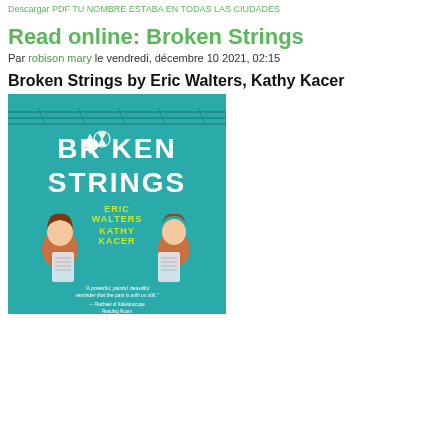Descargar PDF TU NOMBRE ESTABA EN TODAS LAS CIUDADES
Read online: Broken Strings
Par robison mary le vendredi, décembre 10 2021, 02:15
Broken Strings by Eric Walters, Kathy Kacer
[Figure (illustration): Book cover of 'Broken Strings' by Eric Walters and Kathy Kacer. Teal/green background with barbed wire fencing. Title text 'BROKEN STRINGS' in large white letters with a Star of David replacing the 'O' in BROKEN. Authors' names in yellow-green. Two illustrated children facing each other holding sheet music pages.]